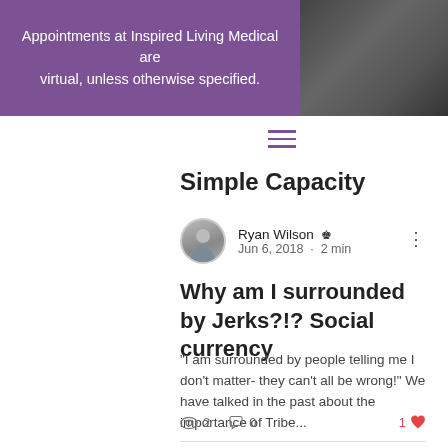Appointments at Inspired Living Medical are virtual, unless otherwise specified.
Simple Capacity
Ryan Wilson 👑 Jun 6, 2018 · 2 min
Why am I surrounded by Jerks?!? Social currency
"I am surrounded by people telling me I don't matter- they can't all be wrong!" We have talked in the past about the importance of Tribe...
👁 2   💬 0   1 ❤